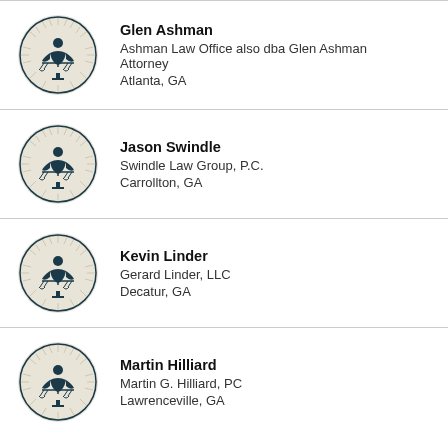[Figure (logo): Circular law firm logo with scales of justice and figure, beige/navy color scheme]
Glen Ashman
Ashman Law Office also dba Glen Ashman Attorney
Atlanta, GA
[Figure (logo): Circular law firm logo with scales of justice and figure, beige/navy color scheme]
Jason Swindle
Swindle Law Group, P.C.
Carrollton, GA
[Figure (logo): Circular law firm logo with scales of justice and figure, beige/navy color scheme]
Kevin Linder
Gerard Linder, LLC
Decatur, GA
[Figure (logo): Circular law firm logo with scales of justice and figure, beige/navy color scheme]
Martin Hilliard
Martin G. Hilliard, PC
Lawrenceville, GA